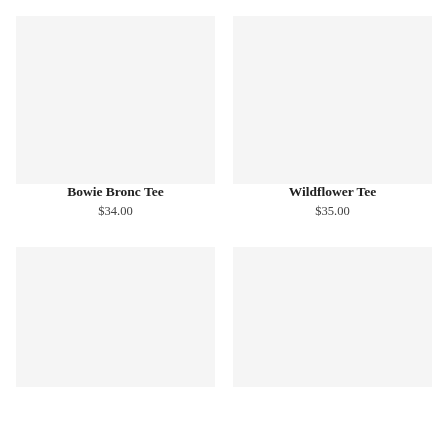[Figure (photo): Product image placeholder for Bowie Bronc Tee - light gray rectangle]
[Figure (photo): Product image placeholder for Wildflower Tee - light gray rectangle]
Bowie Bronc Tee
$34.00
Wildflower Tee
$35.00
[Figure (photo): Product image placeholder - light gray rectangle (bottom left)]
[Figure (photo): Product image placeholder - light gray rectangle (bottom right)]